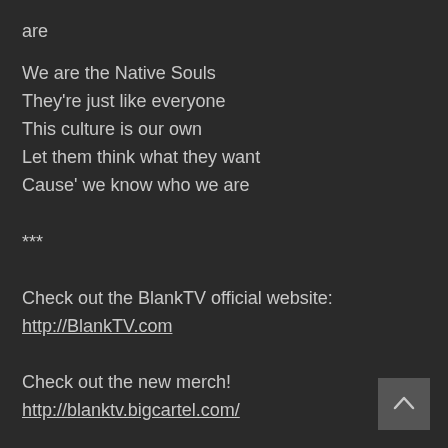are
We are the Native Souls
They're just like everyone
This culture is our own
Let them think what they want
Cause' we know who we are
***
Check out the BlankTV official website:
http://BlankTV.com
Check out the new merch!
http://blanktv.bigcartel.com/
Follow us on Twitter: